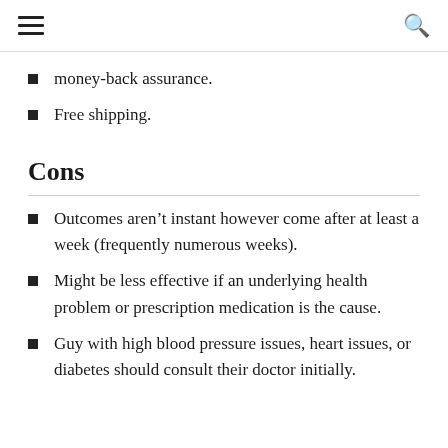money-back assurance.
Free shipping.
Cons
Outcomes aren’t instant however come after at least a week (frequently numerous weeks).
Might be less effective if an underlying health problem or prescription medication is the cause.
Guy with high blood pressure issues, heart issues, or diabetes should consult their doctor initially.